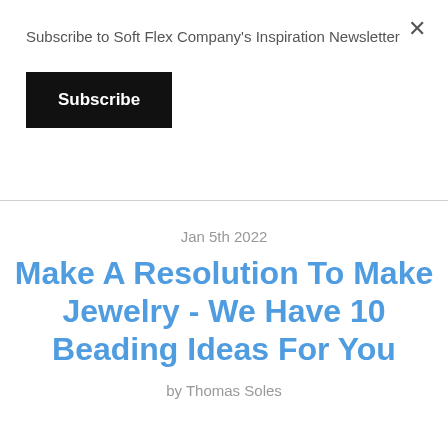Subscribe to Soft Flex Company's Inspiration Newsletter
Subscribe
Jan 5th 2022
Make A Resolution To Make Jewelry - We Have 10 Beading Ideas For You
by Thomas Soles